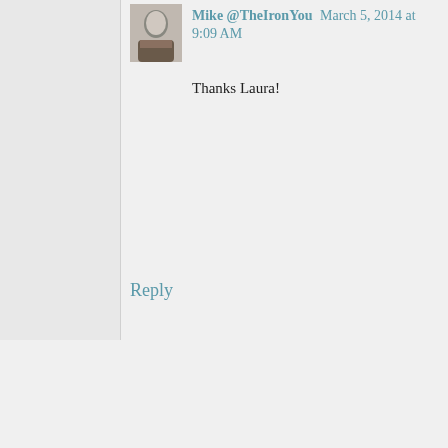Mike @TheIronYou March 5, 2014 at 9:09 AM
Thanks Laura!
Reply